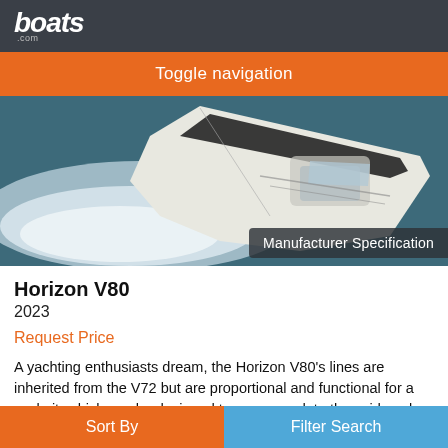boats .com
Toggle navigation
[Figure (photo): Aerial view of a large white motorboat speeding across dark blue water, creating white wake, seen from above at an angle. A 'Manufacturer Specification' badge overlays the bottom-right corner.]
Horizon V80
2023
Request Price
A yachting enthusiasts dream, the Horizon V80's lines are inherited from the V72 but are proportional and functional for a cockpit, which can be designed to accommodate the avid angler, diver, or a complete array of family water sports. A spacious four stateroom en-suite layout will leave
Sort By | Filter Search